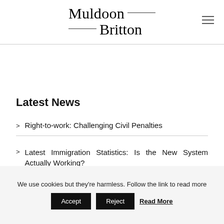[Figure (logo): Muldoon Britton law firm logo with decorative horizontal lines]
Latest News
Right-to-work: Challenging Civil Penalties
Latest Immigration Statistics: Is the New System Actually Working?
We use cookies but they're harmless. Follow the link to read more  Accept  Reject  Read More